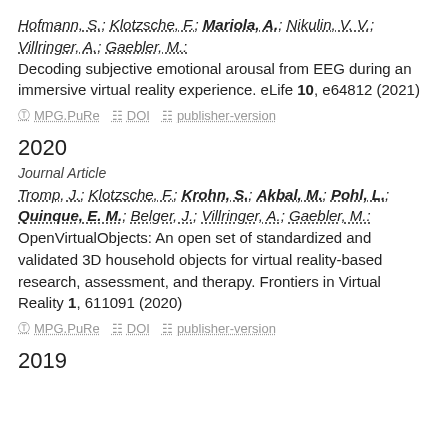Hofmann, S.; Klotzsche, F.; Mariola, A.; Nikulin, V. V.; Villringer, A.; Gaebler, M.: Decoding subjective emotional arousal from EEG during an immersive virtual reality experience. eLife 10, e64812 (2021)
MPG.PuRe   DOI   publisher-version
2020
Journal Article
Tromp, J.; Klotzsche, F.; Krohn, S.; Akbal, M.; Pohl, L.; Quinque, E. M.; Belger, J.; Villringer, A.; Gaebler, M.: OpenVirtualObjects: An open set of standardized and validated 3D household objects for virtual reality-based research, assessment, and therapy. Frontiers in Virtual Reality 1, 611091 (2020)
MPG.PuRe   DOI   publisher-version
2019